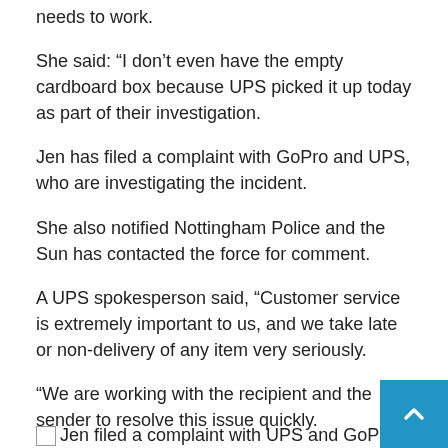needs to work.
She said: “I don’t even have the empty cardboard box because UPS picked it up today as part of their investigation.
Jen has filed a complaint with GoPro and UPS, who are investigating the incident.
She also notified Nottingham Police and the Sun has contacted the force for comment.
A UPS spokesperson said, “Customer service is extremely important to us, and we take late or non-delivery of any item very seriously.
“We are working with the recipient and the sender to resolve this issue quickly.
GoPro has been contacted for comment.
Jen filed a complaint with UPS and GoPro and notified th…